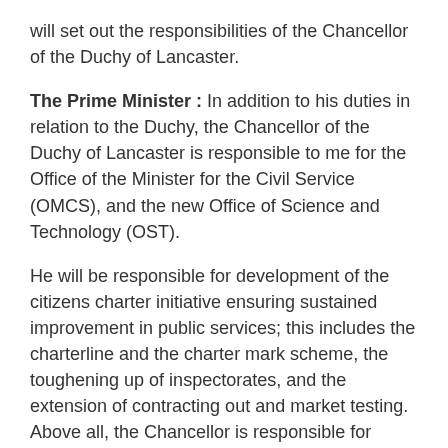will set out the responsibilities of the Chancellor of the Duchy of Lancaster.
The Prime Minister : In addition to his duties in relation to the Duchy, the Chancellor of the Duchy of Lancaster is responsible to me for the Office of the Minister for the Civil Service (OMCS), and the new Office of Science and Technology (OST).
He will be responsible for development of the citizens charter initiative ensuring sustained improvement in public services; this includes the charterline and the charter mark scheme, the toughening up of inspectorates, and the extension of contracting out and market testing. Above all, the Chancellor is responsible for ensuring that those who provide public services are practising the charter principles.